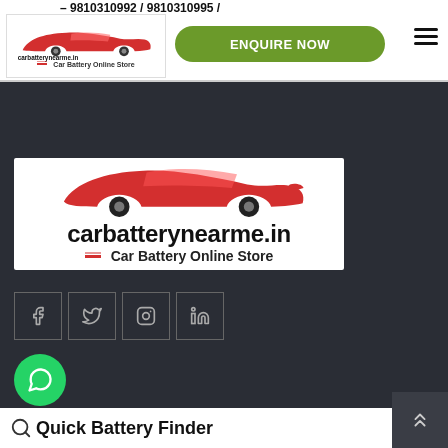9810310992 / 9810310995 /
[Figure (logo): carbatterynearme.in Car Battery Online Store logo with red car silhouette - header version]
ENQUIRE NOW
[Figure (logo): carbatterynearme.in Car Battery Online Store large logo with red car silhouette on white background]
[Figure (infographic): Social media icons row: Facebook, Twitter, Instagram, LinkedIn - dark outlined square buttons]
[Figure (infographic): WhatsApp green circular button with phone icon]
Quick Battery Finder